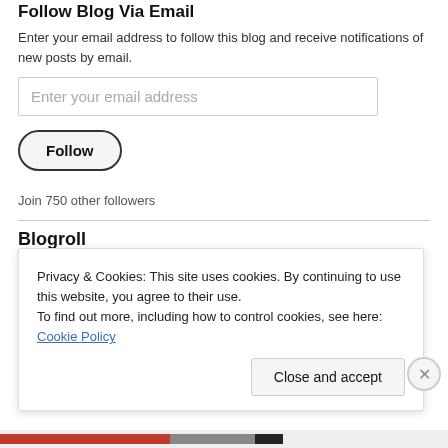Follow Blog Via Email
Enter your email address to follow this blog and receive notifications of new posts by email.
Enter your email address
Follow
Join 750 other followers
Blogroll
Jonathots Daily Blog  Jonathan's Daily Blog
Privacy & Cookies: This site uses cookies. By continuing to use this website, you agree to their use.
To find out more, including how to control cookies, see here: Cookie Policy
Close and accept